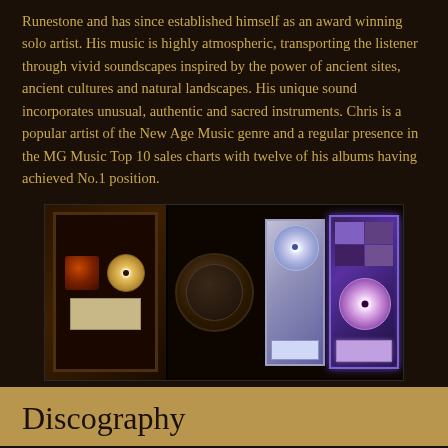Runestone and has since established himself as an award winning solo artist. His music is highly atmospheric, transporting the listener through vivid soundscapes inspired by the power of ancient sites, ancient cultures and natural landscapes. His unique sound incorporates unusual, authentic and sacred instruments. Chris is a popular artist of the New Age Music genre and a regular presence in the MG Music Top 10 sales charts with twelve of his albums having achieved No.1 position.
[Figure (photo): Photograph showing music award plaques and discs: left panel shows a framed gold disc and album cover award with plaque; center shows a dark medallion logo; right shows a silver disc award and a purple-lit framed award with a disc and album collage.]
Discography